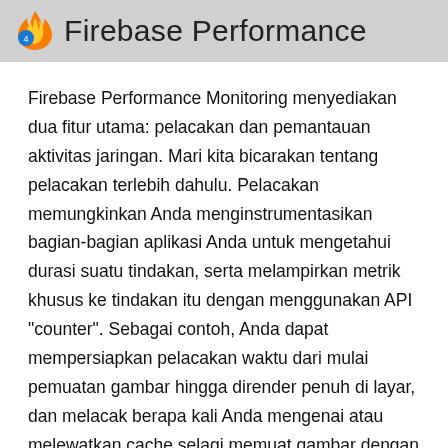Firebase Performance
Firebase Performance Monitoring menyediakan dua fitur utama: pelacakan dan pemantauan aktivitas jaringan. Mari kita bicarakan tentang pelacakan terlebih dahulu. Pelacakan memungkinkan Anda menginstrumentasikan bagian-bagian aplikasi Anda untuk mengetahui durasi suatu tindakan, serta melampirkan metrik khusus ke tindakan itu dengan menggunakan API "counter". Sebagai contoh, Anda dapat mempersiapkan pelacakan waktu dari mulai pemuatan gambar hingga dirender penuh di layar, dan melacak berapa kali Anda mengenai atau melewatkan cache selagi memuat gambar dengan menggunakan counters.
Cukup dengan memasang SDK, Anda akan mendapatkan